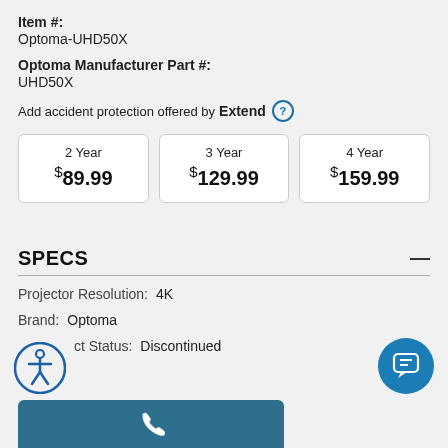Item #:
Optoma-UHD50X
Optoma Manufacturer Part #:
UHD50X
Add accident protection offered by Extend ?
| 2 Year | 3 Year | 4 Year |
| --- | --- | --- |
| $89.99 | $129.99 | $159.99 |
SPECS
Projector Resolution:   4K
Brand:   Optoma
Product Status:   Discontinued